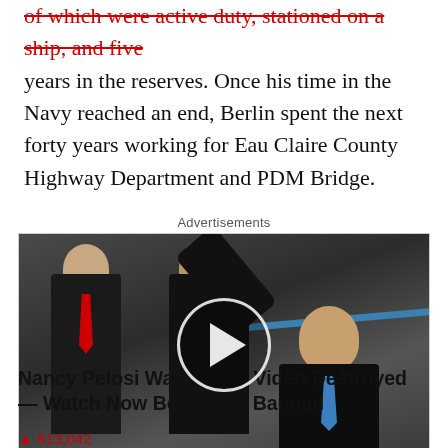of which were active duty, stationed on a ship, and five years in the reserves. Once his time in the Navy reached an end, Berlin spent the next forty years working for Eau Claire County Highway Department and PDM Bridge.
Advertisements
[Figure (photo): Photo of politicians walking, with a play button overlay indicating a video advertisement]
Nancy Pelosi Wants This Video Destroyed — Watch Now Before It's Banned
▲ 813,042